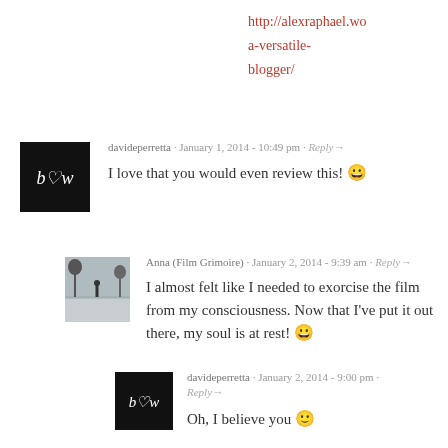http://alexraphael.wo a-versatile- blogger/
davideperretta · January 1, 2014 - 10:49 pm · Reply→
I love that you would even review this! 😀
Anna (Film Grimoire) · January 2, 2014 - 9:39 am · Reply→
I almost felt like I needed to exorcise the film from my consciousness. Now that I've put it out there, my soul is at rest! 😀
davideperretta · January 2, 2014 - 9:00 pm · Reply→
Oh, I believe you 🙂